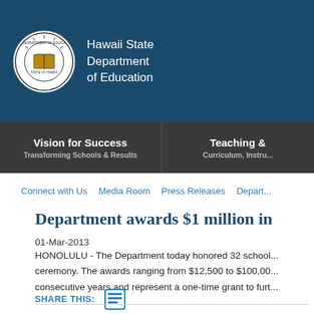Hawaii State Department of Education
Vision for Success
Transforming Schools & Results
Teaching &
Curriculum, Instru...
Connect with Us   Media Room   Press Releases   Depart...
Department awards $1 million in
01-Mar-2013
HONOLULU - The Department today honored 32 school... ceremony. The awards ranging from $12,500 to $100,00... consecutive years and represent a one-time grant to furt...
SHARE THIS: